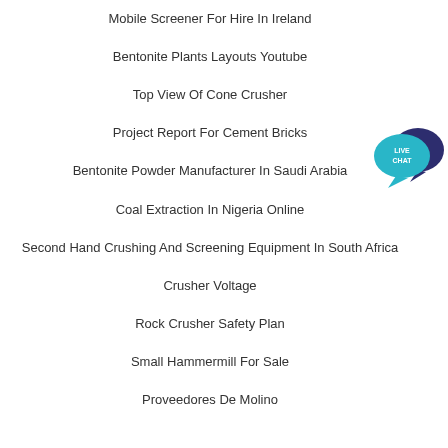Mobile Screener For Hire In Ireland
Bentonite Plants Layouts Youtube
Top View Of Cone Crusher
Project Report For Cement Bricks
Bentonite Powder Manufacturer In Saudi Arabia
Coal Extraction In Nigeria Online
Second Hand Crushing And Screening Equipment In South Africa
Crusher Voltage
Rock Crusher Safety Plan
Small Hammermill For Sale
Proveedores De Molino
[Figure (illustration): Live Chat button icon with speech bubble in teal/dark blue colors]